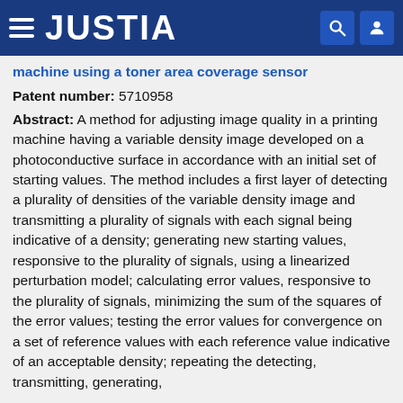JUSTIA
machine using a toner area coverage sensor
Patent number: 5710958
Abstract: A method for adjusting image quality in a printing machine having a variable density image developed on a photoconductive surface in accordance with an initial set of starting values. The method includes a first layer of detecting a plurality of densities of the variable density image and transmitting a plurality of signals with each signal being indicative of a density; generating new starting values, responsive to the plurality of signals, using a linearized perturbation model; calculating error values, responsive to the plurality of signals, minimizing the sum of the squares of the error values; testing the error values for convergence on a set of reference values with each reference value indicative of an acceptable density; repeating the detecting, transmitting, generating,